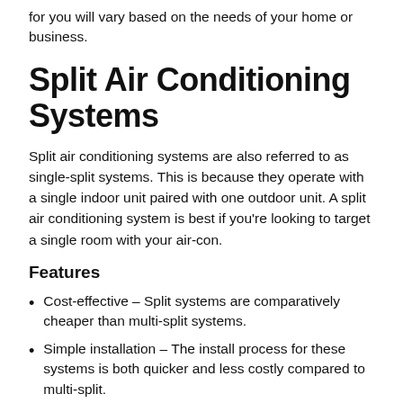for you will vary based on the needs of your home or business.
Split Air Conditioning Systems
Split air conditioning systems are also referred to as single-split systems. This is because they operate with a single indoor unit paired with one outdoor unit. A split air conditioning system is best if you're looking to target a single room with your air-con.
Features
Cost-effective – Split systems are comparatively cheaper than multi-split systems.
Simple installation – The install process for these systems is both quicker and less costly compared to multi-split.
Targeted power – A split system with be specific to a single room and provide optimal temperature control.